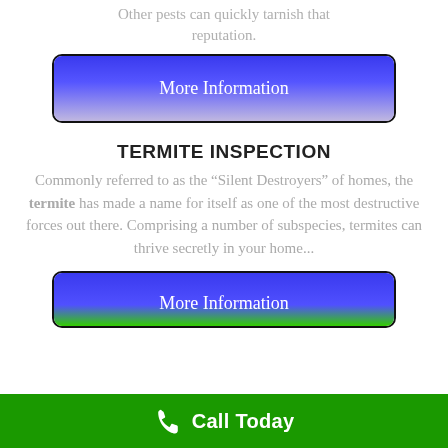Other pests can quickly tarnish that reputation.
[Figure (other): Blue gradient 'More Information' button with dark border]
TERMITE INSPECTION
Commonly referred to as the “Silent Destroyers” of homes, the termite has made a name for itself as one of the most destructive forces out there. Comprising a number of subspecies, termites can thrive secretly in your home...
[Figure (other): Blue gradient 'More Information' button with dark border]
Call Today